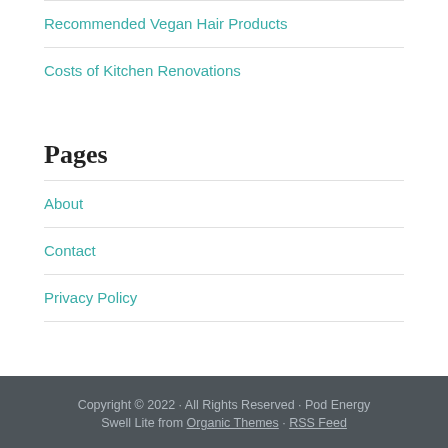Recommended Vegan Hair Products
Costs of Kitchen Renovations
Pages
About
Contact
Privacy Policy
Copyright © 2022 · All Rights Reserved · Pod Energy Swell Lite from Organic Themes · RSS Feed